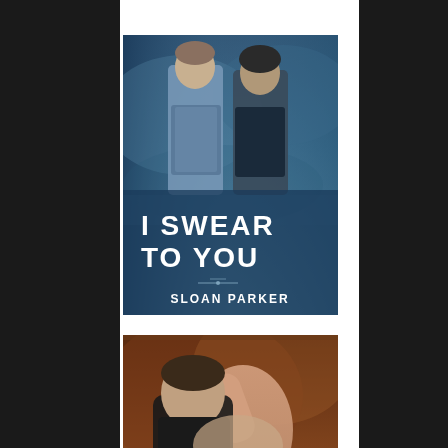[Figure (illustration): Book cover for 'I Swear To You' by Sloan Parker. Blue-toned cover featuring two men, with bold white text 'I SWEAR TO YOU' and author name 'SLOAN PARKER' at bottom.]
[Figure (illustration): Book cover for 'More Than Just a Good Book' by Sloan Parker. Brown/warm-toned cover featuring an embracing couple, with script and serif text title and author name 'SLOAN PARKER' at bottom.]
[Figure (illustration): Book cover for 'Something To Believe In' by Sloan Parker. Blue-toned cover with winter/snowy scene, author name 'SLOAN PARKER' at top, and title text with 'Something To' in small caps and 'Believe In' in red italic script.]